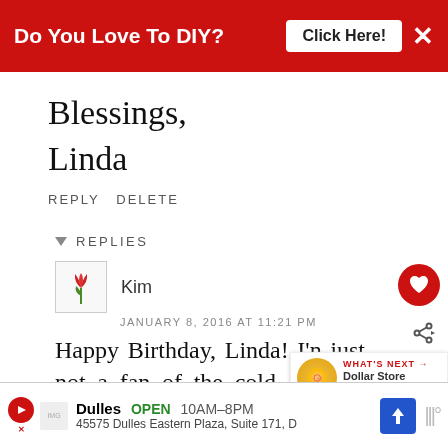Do You Love To DIY?  Click Here!  ×
Blessings,
Linda
REPLY  DELETE
▼  REPLIES
Kim
JANUARY 8, 2016 AT 11:21 PM
Happy Birthday, Linda! I'n just not a fan of the cold. I am a winter birthd too, but a summer girl at heart  and  I  got  married
WHAT'S NEXT → Dollar Store Daisy Wreat...
Dulles  OPEN  10AM–8PM  45575 Dulles Eastern Plaza, Suite 171, D